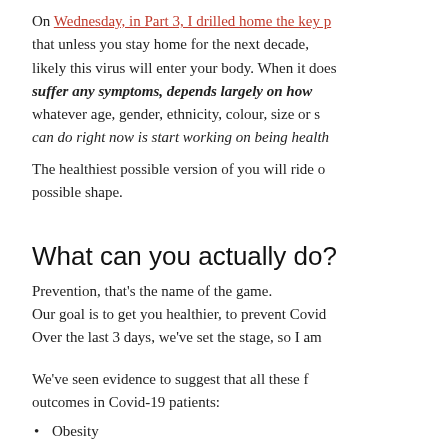On Wednesday, in Part 3, I drilled home the key p that unless you stay home for the next decade, likely this virus will enter your body. When it does, suffer any symptoms, depends largely on how whatever age, gender, ethnicity, colour, size or s can do right now is start working on being health
The healthiest possible version of you will ride o possible shape.
What can you actually do?
Prevention, that's the name of the game.
Our goal is to get you healthier, to prevent Covid
Over the last 3 days, we've set the stage, so I am
We've seen evidence to suggest that all these f outcomes in Covid-19 patients:
Obesity